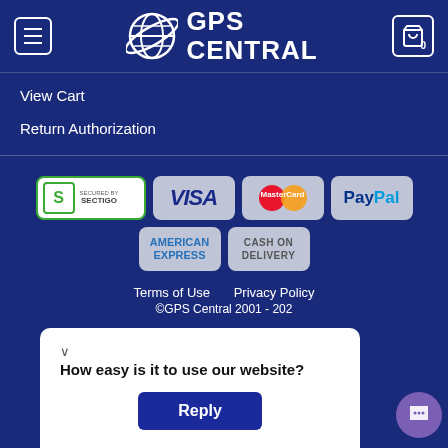GPS Central
View Cart
Return Authorization
[Figure (logo): Payment method badges: Secured by Sectigo, VISA, MasterCard, PayPal, American Express, Cash on Delivery]
Terms of Use   Privacy Policy
©GPS Central 2001 - 202
How easy is it to use our website?
Reply